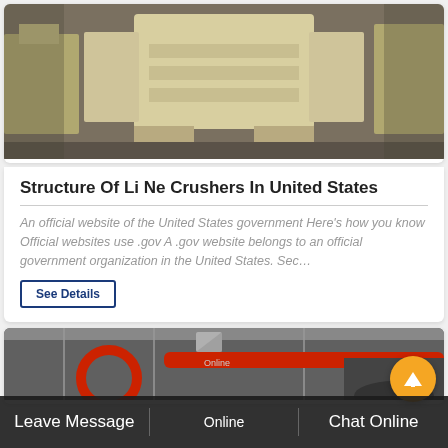[Figure (photo): Industrial jaw crusher machine, painted yellow/cream, shown in a warehouse or factory floor setting]
Structure Of Li Ne Crushers In United States
An official website of the United States government Here's how you know Official websites use .gov A .gov website belongs to an official government organization in the United States. Sec…
See Details
[Figure (photo): Industrial crusher/mill machinery with red circular components and red pipes, shown in a factory setting]
Leave Message   Online   Chat Online